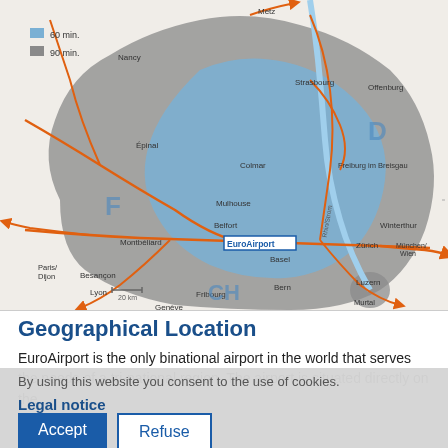[Figure (map): Map showing EuroAirport geographical location with 60 min (blue) and 90 min (gray) catchment areas covering parts of France (F), Germany (D), and Switzerland (CH). Shows cities including Nancy, Strasbourg, Offenburg, Epinal, Colmar, Freiburg im Breisgau, Mulhouse, Belfort, Montbéliard, EuroAirport, Basel, Zürich, Winterthur, München/Wien, Paris/Dijon, Besançon, Lyon, Genève, Fribourg, Bern, Luzern, Metz. Orange lines show motorway/road connections; blue line shows Rhine river.]
Geographical Location
EuroAirport is the only binational airport in the world that serves the needs of a tri-national region. The airport is situated directly on the
By using this website you consent to the use of cookies.
Legal notice
Accept
Refuse